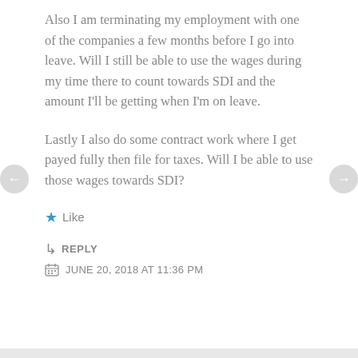Also I am terminating my employment with one of the companies a few months before I go into leave. Will I still be able to use the wages during my time there to count towards SDI and the amount I'll be getting when I'm on leave.
Lastly I also do some contract work where I get payed fully then file for taxes. Will I be able to use those wages towards SDI?
★ Like
↳ REPLY
JUNE 20, 2018 AT 11:36 PM